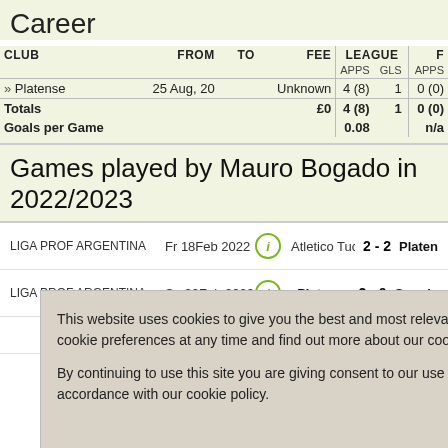Career
| CLUB | FROM | TO | FEE | LEAGUE APPS | LEAGUE GLS | APPS |
| --- | --- | --- | --- | --- | --- | --- |
| » Platense | 25 Aug, 20 |  | Unknown | 4 (8) | 1 | 0 (0) |
| Totals |  |  | £0 | 4 (8) | 1 | 0 (0) |
| Goals per Game |  |  |  | 0.08 |  | n/a |
Games played by Mauro Bogado in 2022/2023
LIGA PROF ARGENTINA  Fr 18Feb 2022  Atletico Tucuman 2 - 2 Platense
LIGA PROF ARGENTINA  Su 20Feb 2022  Platense 2 - 0 Sarmiento
This website uses cookies to give you the best and most relevant experience. You can change your cookie preferences at any time and find out more about our cookie policy by following this link.

By continuing to use this site you are giving consent to our use of cookies on Racing Post websites in accordance with our cookie policy.